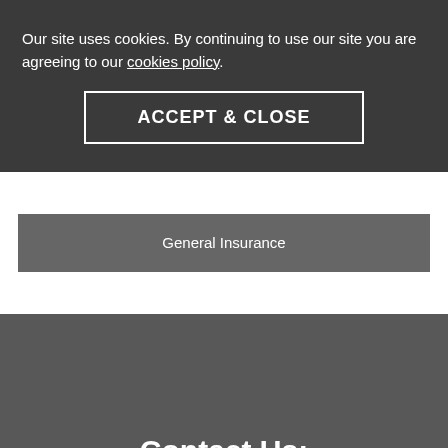Our site uses cookies. By continuing to use our site you are agreeing to our cookies policy.
ACCEPT & CLOSE
General Insurance
Contact Us: